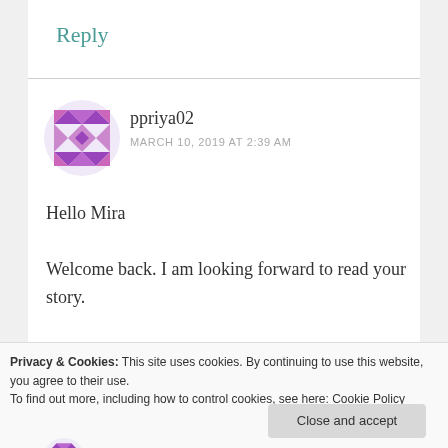Reply
[Figure (illustration): Circular avatar with purple quilt/mosaic pattern for user ppriya02]
ppriya02
MARCH 10, 2019 AT 2:39 AM
Hello Mira
Welcome back. I am looking forward to read your story.
Thanks for notifying me
Privacy & Cookies: This site uses cookies. By continuing to use this website, you agree to their use.
To find out more, including how to control cookies, see here: Cookie Policy
Close and accept
[Figure (illustration): Partial circular avatar with purple mosaic pattern at bottom of page]